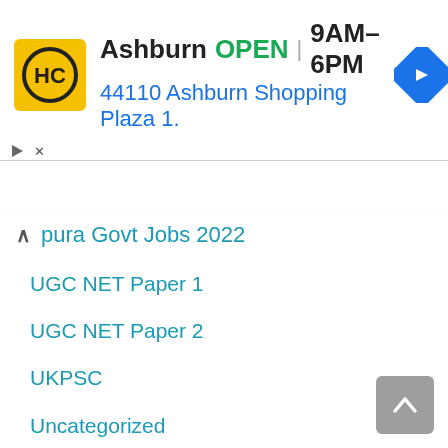[Figure (infographic): Advertisement banner for Ashburn location showing HC logo, open status, hours 9AM-6PM, address 44110 Ashburn Shopping Plaza 1., and navigation arrow icon]
pura Govt Jobs 2022
UGC NET Paper 1
UGC NET Paper 2
UKPSC
Uncategorized
UP Govt Jobs
UP PGT
UPHESC
UPPSC
UPPSC Current Affairs
UPSC CDS
UPSC IAS M...